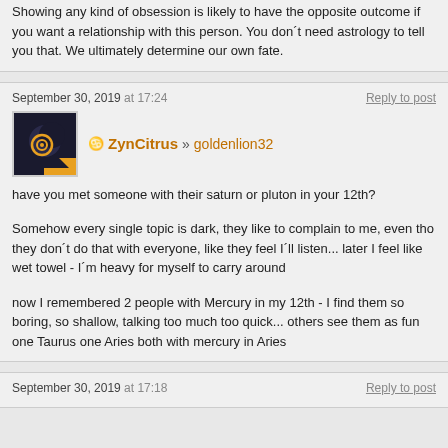Showing any kind of obsession is likely to have the opposite outcome if you want a relationship with this person. You don´t need astrology to tell you that. We ultimately determine our own fate.
September 30, 2019 at 17:24
ZynCitrus » goldenlion32
have you met someone with their saturn or pluton in your 12th?
Somehow every single topic is dark, they like to complain to me, even tho they don´t do that with everyone, like they feel I´ll listen... later I feel like wet towel - I´m heavy for myself to carry around
now I remembered 2 people with Mercury in my 12th - I find them so boring, so shallow, talking too much too quick... others see them as fun one Taurus one Aries both with mercury in Aries
September 30, 2019 at 17:18